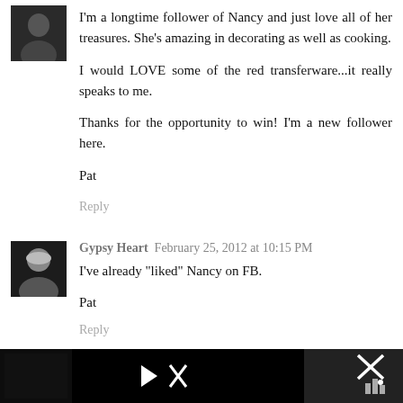[Figure (photo): Small avatar photo of a person in dark clothing at the top left of first comment]
I'm a longtime follower of Nancy and just love all of her treasures. She's amazing in decorating as well as cooking.

I would LOVE some of the red transferware...it really speaks to me.

Thanks for the opportunity to win! I'm a new follower here.

Pat
Reply
[Figure (photo): Small avatar photo of a person with light hair in dark clothing for Gypsy Heart comment]
Gypsy Heart   February 25, 2012 at 10:15 PM
I've already "liked" Nancy on FB.

Pat
Reply
[Figure (screenshot): Advertisement bar at the bottom of the page with play button and close controls on dark background]